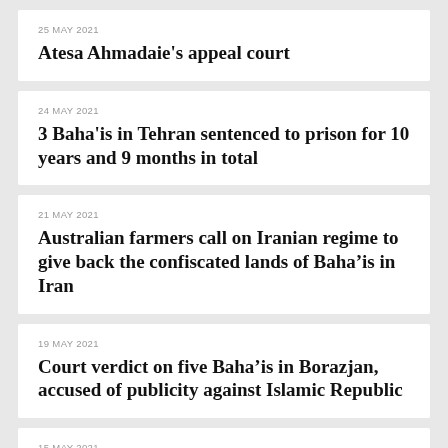25 MAY 2021
Atesa Ahmadaie's appeal court
24 MAY 2021
3 Baha'is in Tehran sentenced to prison for 10 years and 9 months in total
21 MAY 2021
Australian farmers call on Iranian regime to give back the confiscated lands of Baha’is in Iran
19 MAY 2021
Court verdict on five Baha’is in Borazjan, accused of publicity against Islamic Republic
15 MAY 2021